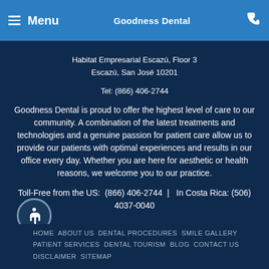≡ Menu   Goodness Dental
Habitat Empresarial Escazú, Floor 3
Escazú, San José 10201
Tel: (866) 406-2744
Goodness Dental is proud to offer the highest level of care to our community. A combination of the latest treatments and technologies and a genuine passion for patient care allow us to provide our patients with optimal experiences and results in our office every day. Whether you are here for aesthetic or health reasons, we welcome you to our practice.
Toll-Free from the US:  (866) 406-2744  |  In Costa Rica: (506) 4037-0040
HOME  ABOUT US  DENTAL PROCEDURES  SMILE GALLERY  PATIENT SERVICES  DENTAL TOURISM  BLOG  CONTACT US  DISCLAIMER  SITEMAP